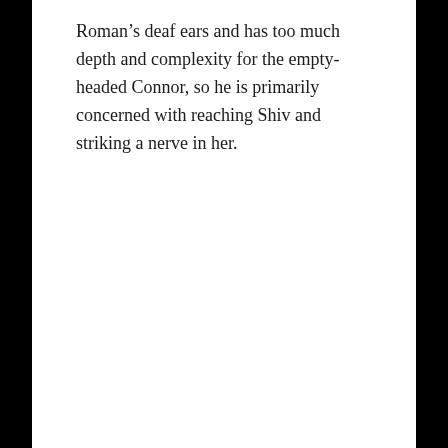Roman's deaf ears and has too much depth and complexity for the empty-headed Connor, so he is primarily concerned with reaching Shiv and striking a nerve in her.